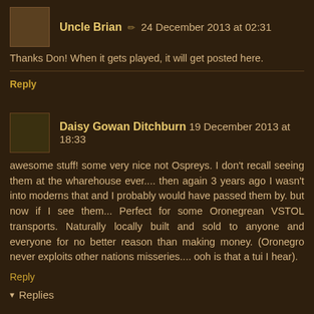[Figure (photo): Avatar image of Uncle Brian - small square thumbnail]
Uncle Brian ✏ 24 December 2013 at 02:31
Thanks Don! When it gets played, it will get posted here.
Reply
[Figure (photo): Avatar image of Daisy Gowan Ditchburn - small square thumbnail]
Daisy Gowan Ditchburn 19 December 2013 at 18:33
awesome stuff! some very nice not Ospreys. I don't recall seeing them at the wharehouse ever.... then again 3 years ago I wasn't into moderns that and I probably would have passed them by. but now if I see them... Perfect for some Oronegrean VSTOL transports. Naturally locally built and sold to anyone and everyone for no better reason than making money. (Oronegro never exploits other nations misseries.... ooh is that a tui I hear).
Reply
▾ Replies